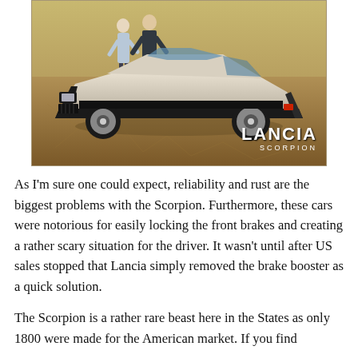[Figure (photo): Vintage Lancia Scorpion advertisement photo showing a silver/white Lancia Scorpion sports car on a cracked desert ground. Two people (a man and a woman) stand behind the car. The Lancia Scorpion logo appears in the lower right of the image.]
As I'm sure one could expect, reliability and rust are the biggest problems with the Scorpion. Furthermore, these cars were notorious for easily locking the front brakes and creating a rather scary situation for the driver. It wasn't until after US sales stopped that Lancia simply removed the brake booster as a quick solution.
The Scorpion is a rather rare beast here in the States as only 1800 were made for the American market. If you find